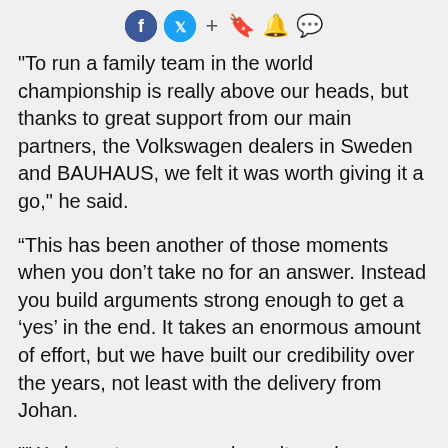[Social media icons: Facebook, Twitter, +, bookmark, bell, chat]
"To run a family team in the world championship is really above our heads, but thanks to great support from our main partners, the Volkswagen dealers in Sweden and BAUHAUS, we felt it was worth giving it a go," he said.
“This has been another of those moments when you don’t take no for an answer. Instead you build arguments strong enough to get a ‘yes’ in the end. It takes an enormous amount of effort, but we have built our credibility over the years, not least with the delivery from Johan.
'"We hope to score good results early on, giving us a chance for extra support for the later part of the season."